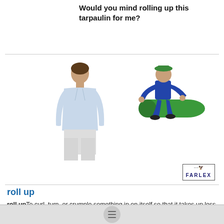Would you mind rolling up this tarpaulin for me?
[Figure (illustration): Two illustrations: a man viewed from behind wearing a light blue shirt, and a person in blue overalls and a hat rolling up a green tarpaulin. The Farlex logo appears in the bottom right of the illustration area.]
roll up
roll upTo curl, turn, or crumple something in on itself so that it takes up less space. Would you mind rolling up this tarpaulin for me?He rolled the napkin up into Advertisement. Bad banner? Please let us know Remove Ads
See also: clear, name
"CITE" 🔗 Farlex Dictionary of Idioms. © 2022 Farlex, Inc, all rights reserved.